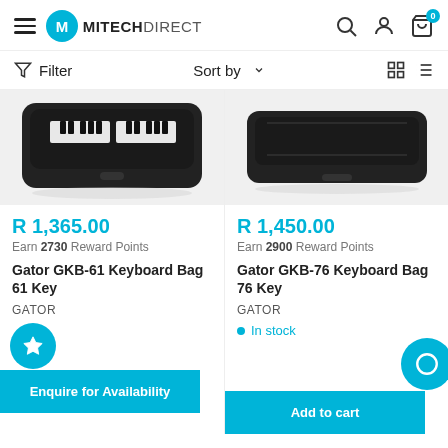Mitech Direct - online store header with logo, search, account, and cart icons
Filter  Sort by  (grid/list view toggle)
[Figure (photo): Gator GKB-61 Keyboard Bag 61 Key product image showing open black keyboard case from above]
R 1,365.00
Earn 2730 Reward Points
Gator GKB-61 Keyboard Bag 61 Key
GATOR
[Figure (photo): Gator GKB-76 Keyboard Bag 76 Key product image showing open black keyboard case from above]
R 1,450.00
Earn 2900 Reward Points
Gator GKB-76 Keyboard Bag 76 Key
GATOR
In stock